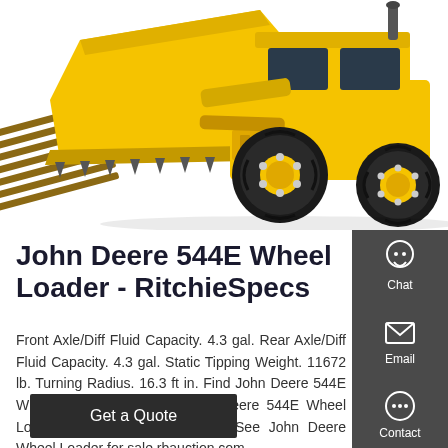[Figure (photo): John Deere 544E Wheel Loader - yellow wheel loader with bucket, shown from front-left angle on white background]
John Deere 544E Wheel Loader - RitchieSpecs
Front Axle/Diff Fluid Capacity. 4.3 gal. Rear Axle/Diff Fluid Capacity. 4.3 gal. Static Tipping Weight. 11672 lb. Turning Radius. 16.3 ft in. Find John Deere 544E Wheel Loader for Sale . John Deere 544E Wheel Loader. 0 LOS ANGELES, CA. See John Deere Wheel Loader for sale rbauction.com.
Get a Quote